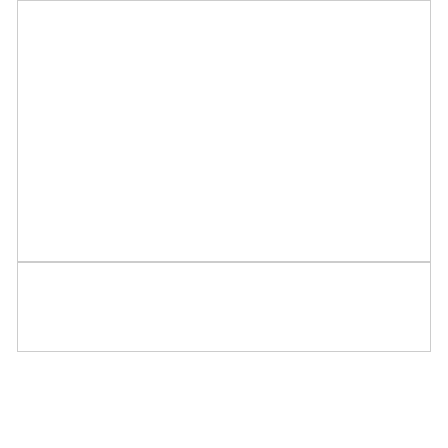me the link to your work where it appears on my site, and I'll gladly take a look and reconsider how and why I'm using it, and we can move forward together from there. The easiest way to alert me of a problem is to place a comment on the post that you're questioning. I'll get an email right away. If there's not a comment form for the item in question, copy the link and past it into the contact form. In any case, please make sure that you're using a real, verifiable email address and your real name when you contact me.
The terms “On30Guy” and “The On30 Guy” are recognized trademarks of, and are copywritten property of Geren W. Mortensen, Jr.